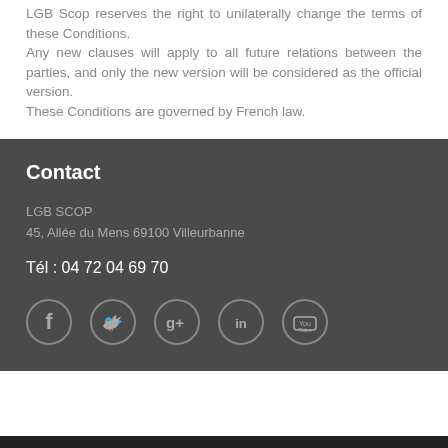LGB Scop reserves the right to unilaterally change the terms of these Conditions. Any new clauses will apply to all future relations between the parties, and only the new version will be considered as the official version. These Conditions are governed by French law.
Contact
LGB SCOP
45, Allée du Mens 69100 Villeurbanne
Tél : 04 72 04 69 70
[Figure (infographic): Row of five social media icon circles: Facebook, Twitter, Google+, LinkedIn, YouTube]